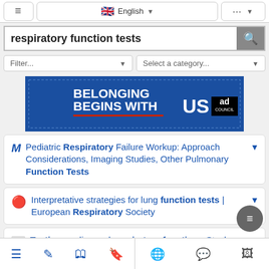≡  English  ▾  ···  ▾
respiratory function tests
Filter...   Select a category...
[Figure (screenshot): Ad Council banner: BELONGING BEGINS WITH US on blue background]
M  Pediatric Respiratory Failure Workup: Approach Considerations, Imaging Studies, Other Pulmonary Function Tests
Interpretative strategies for lung function tests | European Respiratory Society
S/L  Testing cardiac and respiratory function - Stock Image C024/6662 - Science Photo Library